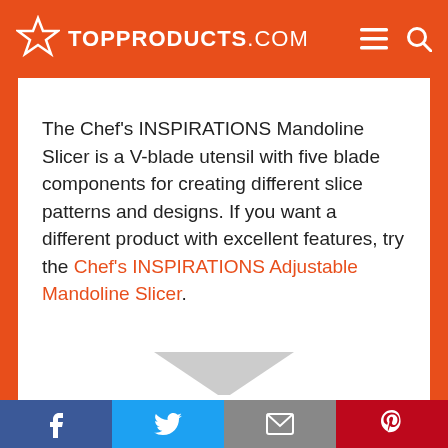TOPPRODUCTS.COM
The Chef's INSPIRATIONS Mandoline Slicer is a V-blade utensil with five blade components for creating different slice patterns and designs. If you want a different product with excellent features, try the Chef's INSPIRATIONS Adjustable Mandoline Slicer.
[Figure (illustration): A downward-pointing chevron/arrow graphic in light gray]
Features
Facebook | Twitter | Email | Pinterest social share bar